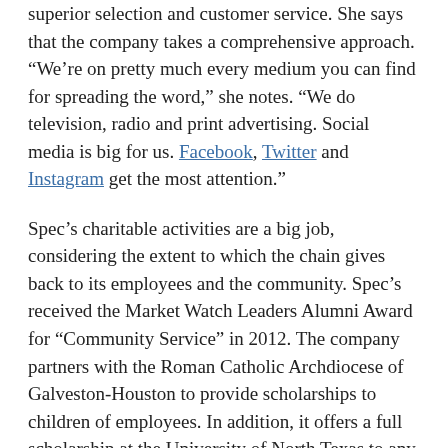superior selection and customer service. She says that the company takes a comprehensive approach. “We’re on pretty much every medium you can find for spreading the word,” she notes. “We do television, radio and print advertising. Social media is big for us. Facebook, Twitter and Instagram get the most attention.”
Spec’s charitable activities are a big job, considering the extent to which the chain gives back to its employees and the community. Spec’s received the Market Watch Leaders Alumni Award for “Community Service” in 2012. The company partners with the Roman Catholic Archdiocese of Galveston-Houston to provide scholarships to children of employees. In addition, it offers a full scholarship at the University of North Texas to any children of employees who gain admission to the university. Spec’s stores also strive to positively impact their local communities, and Lisa fields about 400 to 450 charitable requests each month. “It’s daunting,” she says. “I try to give to at least half of those every month. I do as much as I can.”